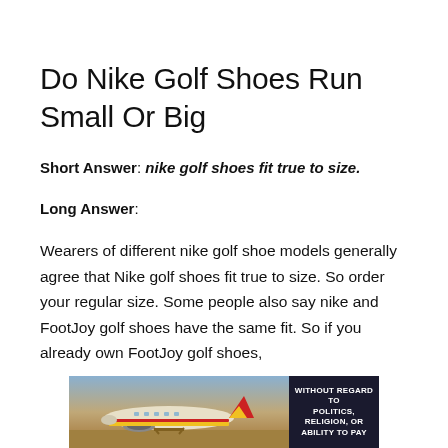Do Nike Golf Shoes Run Small Or Big
Short Answer: nike golf shoes fit true to size.
Long Answer:
Wearers of different nike golf shoe models generally agree that Nike golf shoes fit true to size. So order your regular size. Some people also say nike and FootJoy golf shoes have the same fit. So if you already own FootJoy golf shoes,
[Figure (photo): Advertisement banner showing airplanes/cargo with text 'WITHOUT REGARD TO POLITICS, RELIGION, OR ABILITY TO PAY']